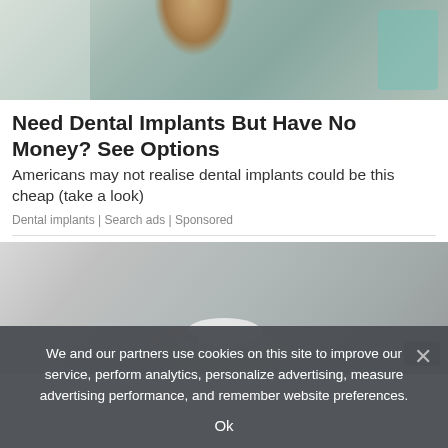[Figure (photo): Photo of a woman in a dental chair with teal/green dental equipment around her, medical setting]
Need Dental Implants But Have No Money? See Options
Americans may not realise dental implants could be this cheap (take a look)
Dental implants | Search ads | Sponsored
[Figure (photo): Close-up photo of a hand holding a spoon with white powder over a metal sink drain]
We and our partners use cookies on this site to improve our service, perform analytics, personalize advertising, measure advertising performance, and remember website preferences.
Ok